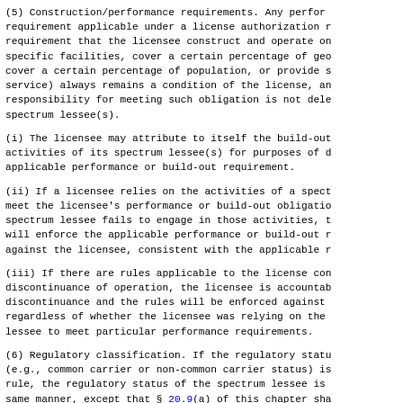(5) Construction/performance requirements. Any performance requirement applicable under a license authorization requirement that the licensee construct and operate on specific facilities, cover a certain percentage of geographic area, cover a certain percentage of population, or provide service) always remains a condition of the license, and the responsibility for meeting such obligation is not delegated to spectrum lessee(s).
(i) The licensee may attribute to itself the build-out activities of its spectrum lessee(s) for purposes of demonstrating applicable performance or build-out requirement.
(ii) If a licensee relies on the activities of a spectrum lessee to meet the licensee's performance or build-out obligations and the spectrum lessee fails to engage in those activities, the Commission will enforce the applicable performance or build-out requirement against the licensee, consistent with the applicable rules.
(iii) If there are rules applicable to the license concerning discontinuance of operation, the licensee is accountable for discontinuance and the rules will be enforced against the licensee regardless of whether the licensee was relying on the spectrum lessee to meet particular performance requirements.
(6) Regulatory classification. If the regulatory status (e.g., common carrier or non-common carrier status) is determined by rule, the regulatory status of the spectrum lessee is determined in the same manner, except that § 20.9(a) of this chapter shall exclude the licensee in the services covered by that rule from ent